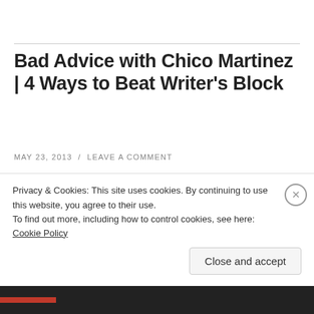Bad Advice with Chico Martinez | 4 Ways to Beat Writer's Block
MAY 23, 2013  /  LEAVE A COMMENT
Hola!
It's your
old pal
Chico
[Figure (illustration): Hand-drawn engineering illustration showing two views of a steel block assembly with labeled parts including '8×16" steel plate', '12×12 angle', '1×4×7¼', '2×8×16', '2×2', '1½×1½ angle', '2×8×16' on two different perspective views of the block.]
Privacy & Cookies: This site uses cookies. By continuing to use this website, you agree to their use.
To find out more, including how to control cookies, see here: Cookie Policy
Close and accept